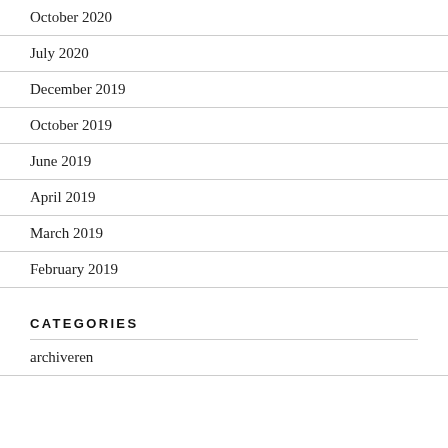October 2020
July 2020
December 2019
October 2019
June 2019
April 2019
March 2019
February 2019
CATEGORIES
archiveren